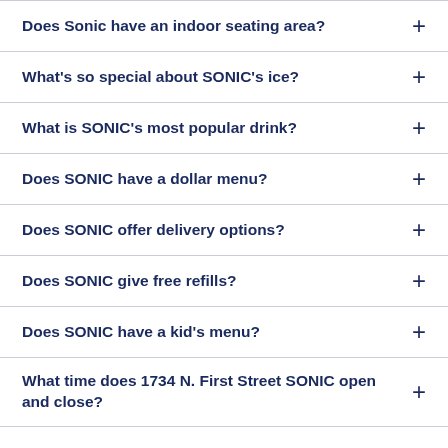Does Sonic have an indoor seating area?
What's so special about SONIC's ice?
What is SONIC's most popular drink?
Does SONIC have a dollar menu?
Does SONIC offer delivery options?
Does SONIC give free refills?
Does SONIC have a kid's menu?
What time does 1734 N. First Street SONIC open and close?